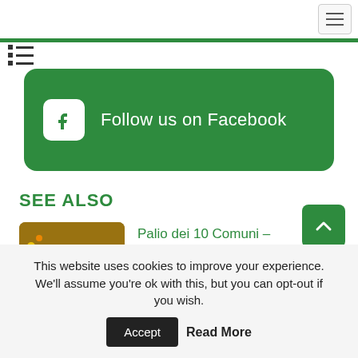[Figure (screenshot): Hamburger/menu button in top-right corner with three horizontal lines]
[Figure (other): List/grid icon with two columns of dots and lines]
[Figure (other): Green rounded button with Facebook icon and text 'Follow us on Facebook']
SEE ALSO
[Figure (photo): Photo of horse race with jockeys in colorful outfits]
Palio dei 10 Comuni – Montagnana
This website uses cookies to improve your experience. We'll assume you're ok with this, but you can opt-out if you wish.
Accept
Read More